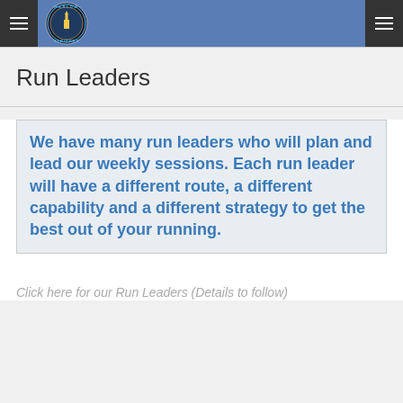Marlow Striders — Run Leaders
Run Leaders
We have many run leaders who will plan and lead our weekly sessions. Each run leader will have a different route, a different capability and a different strategy to get the best out of your running.
Click here for our Run Leaders (Details to follow)